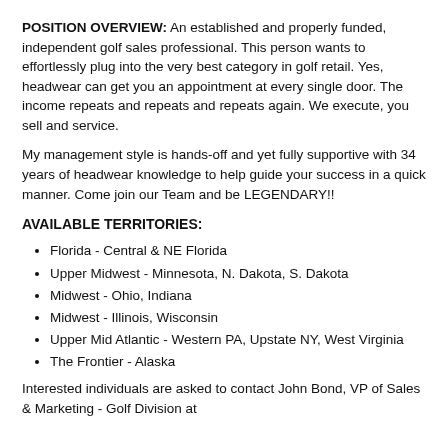POSITION OVERVIEW: An established and properly funded, independent golf sales professional. This person wants to effortlessly plug into the very best category in golf retail. Yes, headwear can get you an appointment at every single door. The income repeats and repeats and repeats again. We execute, you sell and service.
My management style is hands-off and yet fully supportive with 34 years of headwear knowledge to help guide your success in a quick manner. Come join our Team and be LEGENDARY!!
AVAILABLE TERRITORIES:
Florida - Central & NE Florida
Upper Midwest - Minnesota, N. Dakota, S. Dakota
Midwest - Ohio, Indiana
Midwest - Illinois, Wisconsin
Upper Mid Atlantic - Western PA, Upstate NY, West Virginia
The Frontier - Alaska
Interested individuals are asked to contact John Bond, VP of Sales & Marketing - Golf Division at